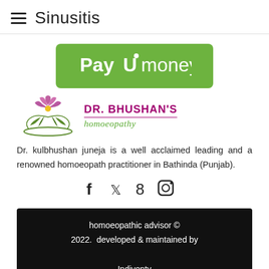≡ Sinusitis
[Figure (logo): PayUmoney logo — green rounded rectangle with white text 'PayUmoney']
[Figure (logo): Dr. Bhushan's Homoeopathy logo — decorative lotus flower emblem on left, 'DR. BHUSHAN'S' in purple bold text and 'homoeopathy' in green italic text on right]
Dr. kulbhushan juneja is a well acclaimed leading and a renowned homoeopath practitioner in Bathinda (Punjab).
[Figure (other): Social media icons: Facebook (f), Twitter (bird), Google+ (g), Instagram (camera)]
homoeopathic advisor © 2022.  developed & maintained by Indiventy